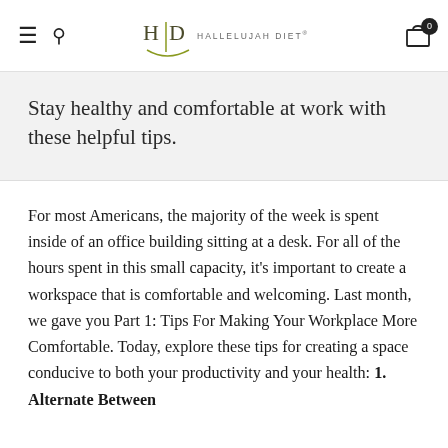HD HALLELUJAH DIET
Stay healthy and comfortable at work with these helpful tips.
For most Americans, the majority of the week is spent inside of an office building sitting at a desk. For all of the hours spent in this small capacity, it's important to create a workspace that is comfortable and welcoming. Last month, we gave you Part 1: Tips For Making Your Workplace More Comfortable. Today, explore these tips for creating a space conducive to both your productivity and your health: 1. Alternate Between